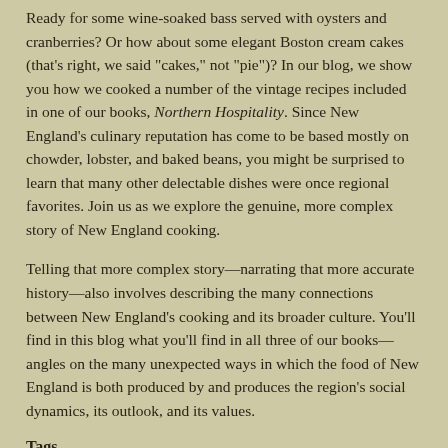Ready for some wine-soaked bass served with oysters and cranberries? Or how about some elegant Boston cream cakes (that's right, we said "cakes," not "pie")? In our blog, we show you how we cooked a number of the vintage recipes included in one of our books, Northern Hospitality. Since New England's culinary reputation has come to be based mostly on chowder, lobster, and baked beans, you might be surprised to learn that many other delectable dishes were once regional favorites. Join us as we explore the genuine, more complex story of New England cooking.
Telling that more complex story—narrating that more accurate history—also involves describing the many connections between New England's cooking and its broader culture. You'll find in this blog what you'll find in all three of our books—angles on the many unexpected ways in which the food of New England is both produced by and produces the region's social dynamics, its outlook, and its values.
Tags
agriculture (1)
Albany (1)